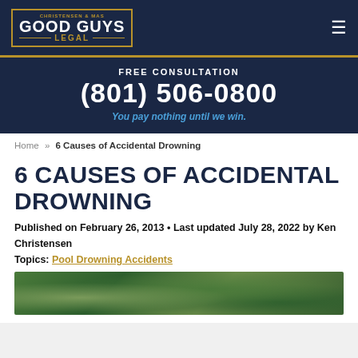Good Guys Legal - Christensen & Mas
FREE CONSULTATION
(801) 506-0800
You pay nothing until we win.
Home » 6 Causes of Accidental Drowning
6 CAUSES OF ACCIDENTAL DROWNING
Published on February 26, 2013 • Last updated July 28, 2022 by Ken Christensen
Topics: Pool Drowning Accidents
[Figure (photo): Outdoor scene with green foliage and vegetation, likely a pool or water area setting]